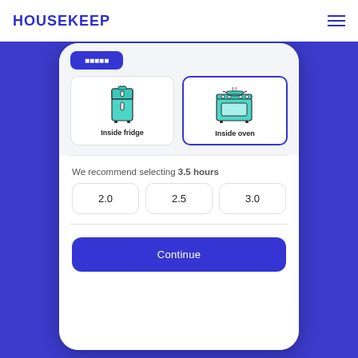HOUSEKEEP
[Figure (screenshot): Mobile app screenshot showing a cleaning service booking UI. Two option cards are shown: 'Inside fridge' (unselected) and 'Inside oven' (selected with blue border). A recommendation text reads 'We recommend selecting 3.5 hours'. Three hour selection buttons show 2.0, 2.5, and 3.0. A blue 'Continue' button appears at the bottom.]
We recommend selecting 3.5 hours
2.0
2.5
3.0
Continue